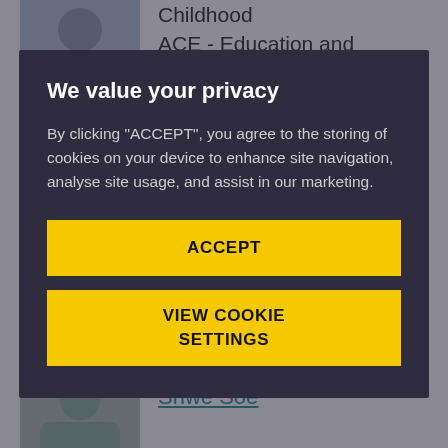[Figure (photo): Headshot photo of a person at the top left]
Childhood
ACE - Education and Childhood
+4411732 81818
[Figure (photo): Headshot photo of Mel Smith]
Mel Smith
Associate Professor in Operations
We value your privacy

By clicking “ACCEPT”, you agree to the storing of cookies on your device to enhance site navigation, analyse site usage, and assist in our marketing.

ACCEPT

VIEW COOKIE SETTINGS
[Figure (photo): Headshot photo of Shwe Soe at the bottom]
Shwe Soe